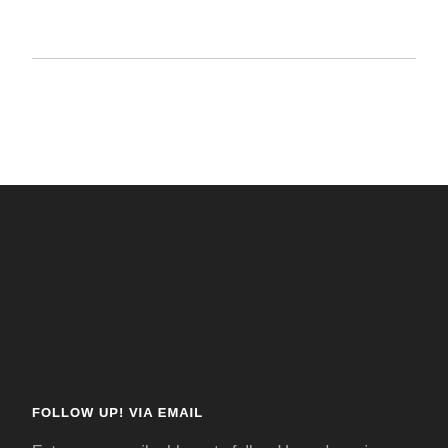FOLLOW UP! VIA EMAIL
Enter your email address to follow Up and receive notifications of new posts 5 days a week.
[Figure (screenshot): Email address input field with placeholder text 'Email Address']
[Figure (screenshot): Blue 'Follow' button]